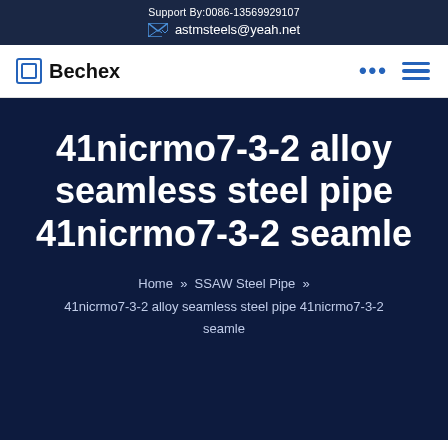Support By:0086-13569929107
astmsteels@yeah.net
[Figure (logo): Bechex company logo with square icon and bold text, navigation bar with dots and hamburger menu icons]
41nicrmo7-3-2 alloy seamless steel pipe 41nicrmo7-3-2 seamle
Home » SSAW Steel Pipe » 41nicrmo7-3-2 alloy seamless steel pipe 41nicrmo7-3-2 seamle